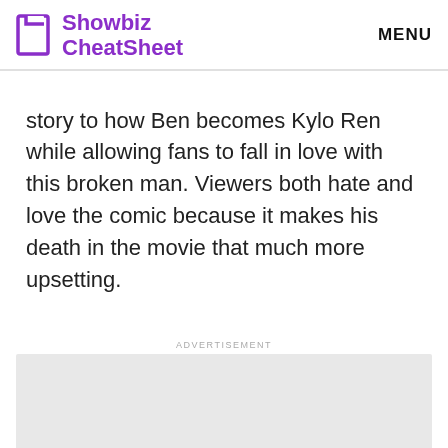Showbiz CheatSheet | MENU
story to how Ben becomes Kylo Ren while allowing fans to fall in love with this broken man. Viewers both hate and love the comic because it makes his death in the movie that much more upsetting.
ADVERTISEMENT
[Figure (other): Advertisement placeholder box (light gray rectangle)]